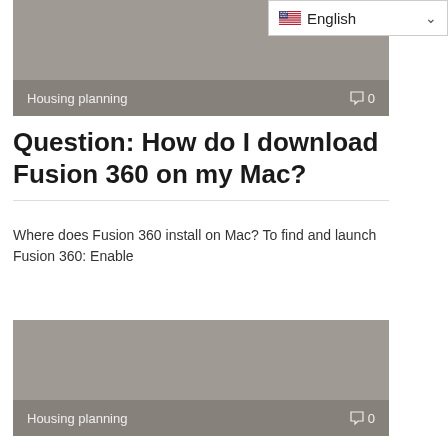[Figure (screenshot): Language selector dropdown showing US flag and 'English' with chevron]
[Figure (photo): Gray placeholder image card with 'Housing planning' label and comment count '0' at bottom]
Question: How do I download Fusion 360 on my Mac?
Where does Fusion 360 install on Mac? To find and launch Fusion 360: Enable
[Figure (photo): Gray placeholder image card with 'Housing planning' label and comment count '0' at bottom]
What is the difference between AutoCAD and DXF?